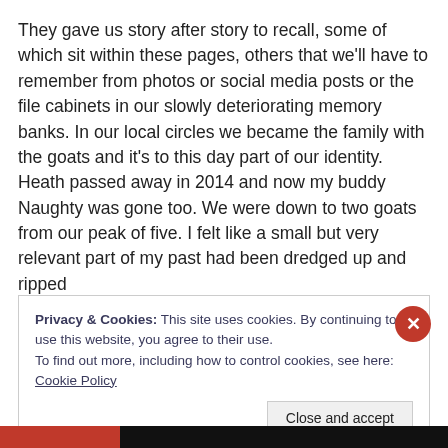They gave us story after story to recall, some of which sit within these pages, others that we'll have to remember from photos or social media posts or the file cabinets in our slowly deteriorating memory banks. In our local circles we became the family with the goats and it's to this day part of our identity. Heath passed away in 2014 and now my buddy Naughty was gone too. We were down to two goats from our peak of five. I felt like a small but very relevant part of my past had been dredged up and ripped
Privacy & Cookies: This site uses cookies. By continuing to use this website, you agree to their use.
To find out more, including how to control cookies, see here: Cookie Policy
Close and accept